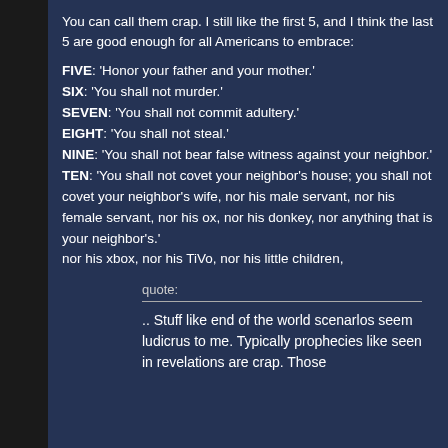You can call them crap. I still like the first 5, and I think the last 5 are good enough for all Americans to embrace:
FIVE: 'Honor your father and your mother.'
SIX: 'You shall not murder.'
SEVEN: 'You shall not commit adultery.'
EIGHT: 'You shall not steal.'
NINE: 'You shall not bear false witness against your neighbor.'
TEN: 'You shall not covet your neighbor's house; you shall not covet your neighbor's wife, nor his male servant, nor his female servant, nor his ox, nor his donkey, nor anything that is your neighbor's.'
nor his xbox, nor his TiVo, nor his little children,
quote:
.. Stuff like end of the world scenarlos seem ludicrus to me. Typically prophecies like seen in revelations are crap. Those